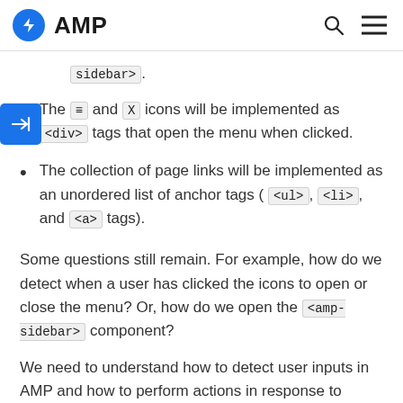AMP
sidebar>.
The ≡ and X icons will be implemented as <div> tags that open the menu when clicked.
The collection of page links will be implemented as an unordered list of anchor tags ( <ul>, <li>, and <a> tags).
Some questions still remain. For example, how do we detect when a user has clicked the icons to open or close the menu? Or, how do we open the <amp-sidebar> component?
We need to understand how to detect user inputs in AMP and how to perform actions in response to